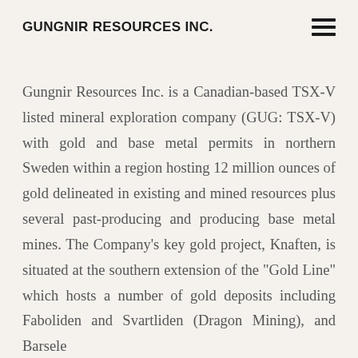GUNGNIR RESOURCES INC.
Gungnir Resources Inc. is a Canadian-based TSX-V listed mineral exploration company (GUG: TSX-V) with gold and base metal permits in northern Sweden within a region hosting 12 million ounces of gold delineated in existing and mined resources plus several past-producing and producing base metal mines. The Company’s key gold project, Knaften, is situated at the southern extension of the “Gold Line” which hosts a number of gold deposits including Faboliden and Svartliden (Dragon Mining), and Barsele